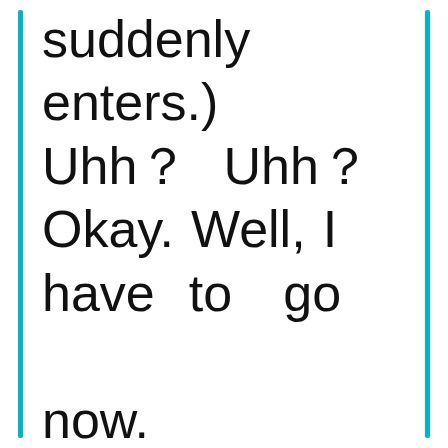suddenly enters.) Uhh？  Uhh？ Okay. Well, I have to go now. (Phoebe leaves.)